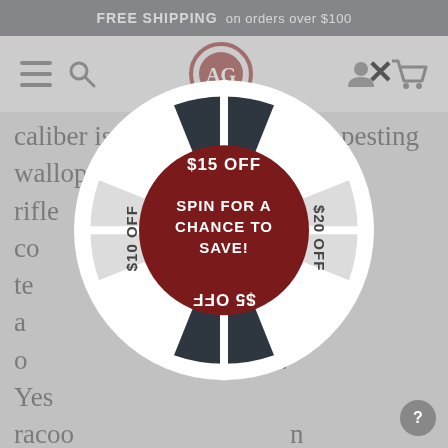FREE SHIPPING on orders over $100
[Figure (screenshot): Website navigation bar with hamburger menu, search icon, AG logo (red circular emblem), user account icon, and shopping cart icon]
caliber is an [obscured] up in pesting wallop [obscured] Pump rifle [obscured] off to co[obscured] te[obscured] a[obscured] o[obscured] s. Yes[obscured] racoo[obscured] n coyotes... p[obscured] roper shot placement. It's that powerful. Not too loud either if you have neighbors or live in the suburbs.
[Figure (infographic): Spin wheel popup with dark navy/white quadrant wheel. Top segment: $15 OFF, Right segment: $20 OFF, Bottom segment: $5 OFF (upside down), Left segment: $10 OFF. Center dark red circle with text: SPIN FOR A CHANCE TO SAVE!]